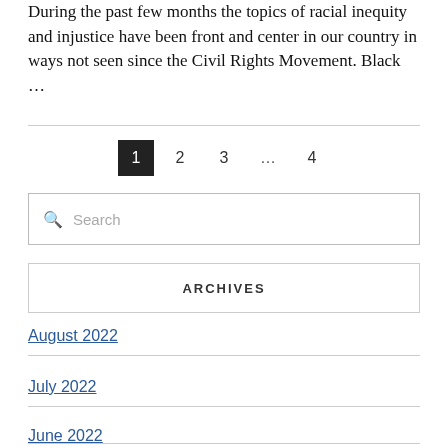During the past few months the topics of racial inequity and injustice have been front and center in our country in ways not seen since the Civil Rights Movement. Black …
1  2  3  …  4
Search
ARCHIVES
August 2022
July 2022
June 2022